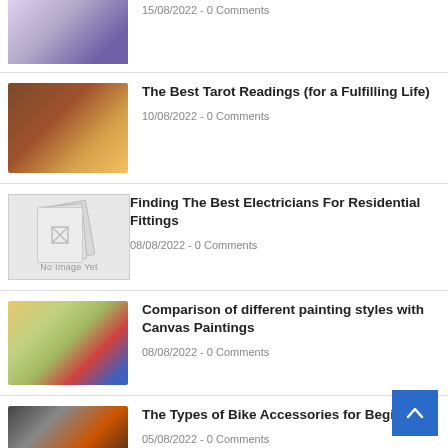[Figure (photo): Partial top article thumbnail showing person in blue/purple clothing]
15/08/2022 - 0 Comments
[Figure (photo): Tarot card reading - hands over cards with mystical lighting]
The Best Tarot Readings (for a Fulfilling Life)
10/08/2022 - 0 Comments
[Figure (photo): No Image Yet placeholder with stacked cards graphic]
Finding The Best Electricians For Residential Fittings
08/08/2022 - 0 Comments
[Figure (photo): Art supplies - colored pencils, paint tubes, blank canvas on desk]
Comparison of different painting styles with Canvas Paintings
08/08/2022 - 0 Comments
[Figure (photo): Bike accessories - phone mount on bicycle handlebar]
The Types of Bike Accessories for Beginners
05/08/2022 - 0 Comments